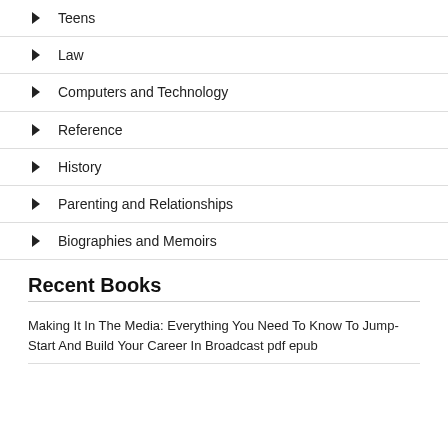Teens
Law
Computers and Technology
Reference
History
Parenting and Relationships
Biographies and Memoirs
Recent Books
Making It In The Media: Everything You Need To Know To Jump-Start And Build Your Career In Broadcast pdf epub